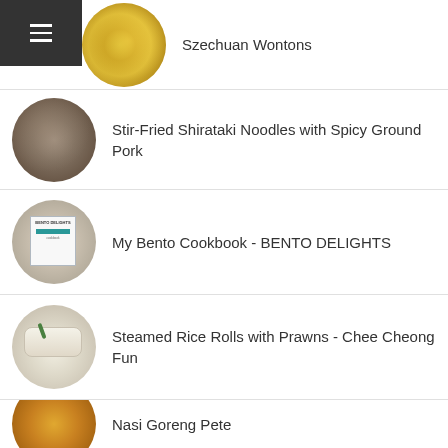[Figure (other): Hamburger menu icon on dark background, top-left corner]
Szechuan Wontons
Stir-Fried Shirataki Noodles with Spicy Ground Pork
My Bento Cookbook - BENTO DELIGHTS
Steamed Rice Rolls with Prawns - Chee Cheong Fun
Nasi Goreng Pete